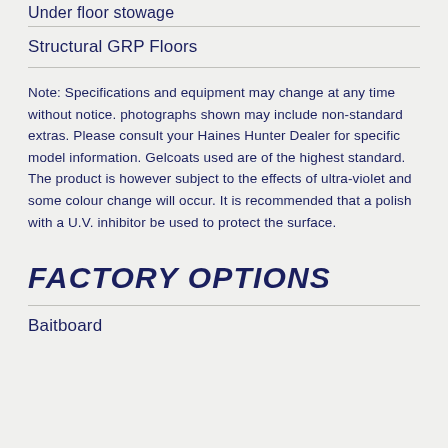Under floor stowage
Structural GRP Floors
Note: Specifications and equipment may change at any time without notice. photographs shown may include non-standard extras. Please consult your Haines Hunter Dealer for specific model information. Gelcoats used are of the highest standard. The product is however subject to the effects of ultra-violet and some colour change will occur. It is recommended that a polish with a U.V. inhibitor be used to protect the surface.
FACTORY OPTIONS
Baitboard